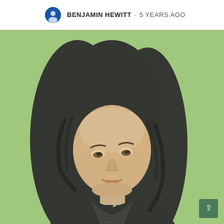BENJAMIN HEWITT · 5 YEARS AGO
[Figure (photo): A person with long dark wavy hair wearing a dark jacket, looking upward with mouth slightly open, photographed against a bright green screen background. Social media post image attributed to Benjamin Hewitt, posted 5 years ago.]